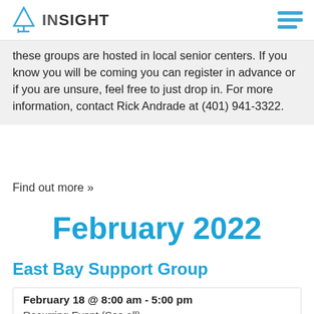INSIGHT
these groups are hosted in local senior centers. If you know you will be coming you can register in advance or if you are unsure, feel free to just drop in. For more information, contact Rick Andrade at (401) 941-3322.
Find out more »
February 2022
East Bay Support Group
February 18 @ 8:00 am - 5:00 pm